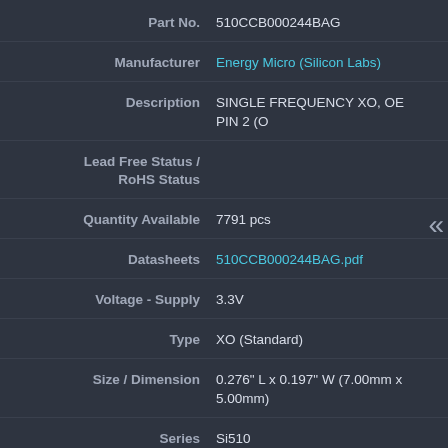Part No. 510CCB000244BAG
Manufacturer Energy Micro (Silicon Labs)
Description SINGLE FREQUENCY XO, OE PIN 2 (O
Lead Free Status / RoHS Status
Quantity Available 7791 pcs
Datasheets 510CCB000244BAG.pdf
Voltage - Supply 3.3V
Type XO (Standard)
Size / Dimension 0.276" L x 0.197" W (7.00mm x 5.00mm)
Series Si510
Ratings -
Packaging Strip